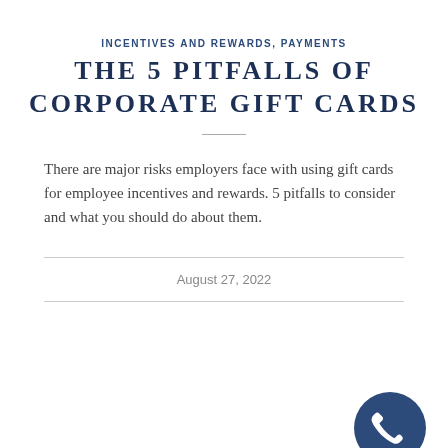INCENTIVES AND REWARDS, PAYMENTS
THE 5 PITFALLS OF CORPORATE GIFT CARDS
There are major risks employers face with using gift cards for employee incentives and rewards. 5 pitfalls to consider and what you should do about them.
August 27, 2022
[Figure (other): Phone/call button icon — dark blue circle with white telephone handset icon, positioned bottom-right corner]